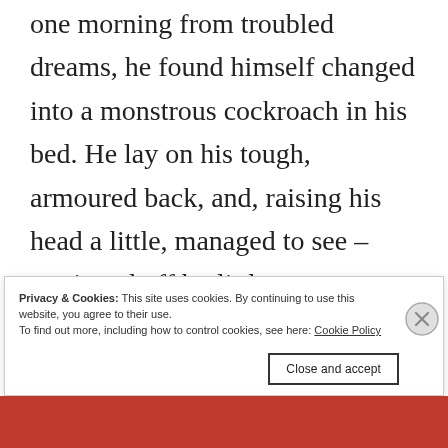one morning from troubled dreams, he found himself changed into a monstrous cockroach in his bed. He lay on his tough, armoured back, and, raising his head a little, managed to see – sectioned off by little crescent-shaped
Privacy & Cookies: This site uses cookies. By continuing to use this website, you agree to their use.
To find out more, including how to control cookies, see here: Cookie Policy
Close and accept